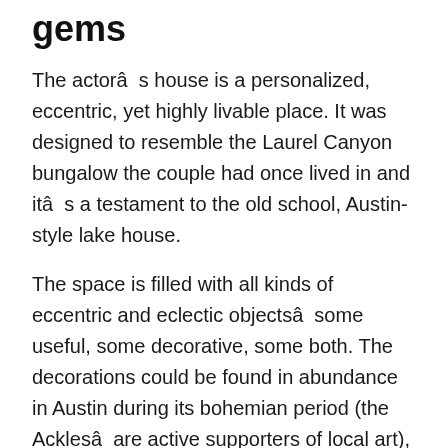gems
The actorâs house is a personalized, eccentric, yet highly livable place. It was designed to resemble the Laurel Canyon bungalow the couple had once lived in and itâs a testament to the old school, Austin-style lake house.
The space is filled with all kinds of eccentric and eclectic objectsâsome useful, some decorative, some both. The decorations could be found in abundance in Austin during its bohemian period (the Acklesâ are active supporters of local art), as well as in late-60s California.
More beautiful celebrity homes
Rob Loweâs Gorgeous House in Montecito is Back on the Market for $42.5 Million